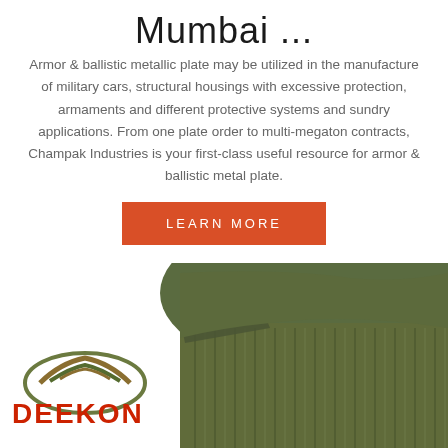Mumbai ...
Armor & ballistic metallic plate may be utilized in the manufacture of military cars, structural housings with excessive protection, armaments and different protective systems and sundry applications. From one plate order to multi-megaton contracts, Champak Industries is your first-class useful resource for armor & ballistic metal plate.
[Figure (other): Orange 'LEARN MORE' button]
[Figure (photo): Military/army olive green ribbed sweater or jacket with shoulder epaulets, shown from behind/above. DEEKON brand logo appears in lower left with stylized shield icon in olive/khaki colors and red text reading DEEKON.]